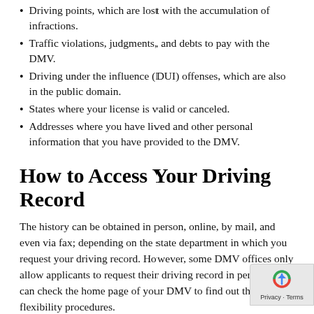Driving points, which are lost with the accumulation of infractions.
Traffic violations, judgments, and debts to pay with the DMV.
Driving under the influence (DUI) offenses, which are also in the public domain.
States where your license is valid or canceled.
Addresses where you have lived and other personal information that you have provided to the DMV.
How to Access Your Driving Record
The history can be obtained in person, online, by mail, and even via fax; depending on the state department in which you request your driving record. However, some DMV offices only allow applicants to request their driving record in person. You can check the home page of your DMV to find out the flexibility procedures.